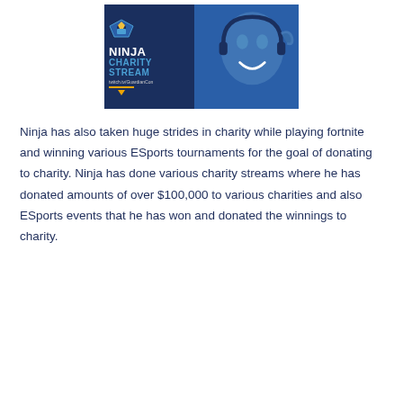[Figure (photo): Ninja Charity Stream promotional banner showing the Ninja logo/mascot on the left side with text 'NINJA CHARITY STREAM twitch.tv/GuardianCon' and a blue-tinted photo of a smiling young man wearing headphones on the right side.]
Ninja has also taken huge strides in charity while playing fortnite and winning various ESports tournaments for the goal of donating to charity. Ninja has done various charity streams where he has donated amounts of over $100,000 to various charities and also ESports events that he has won and donated the winnings to charity.